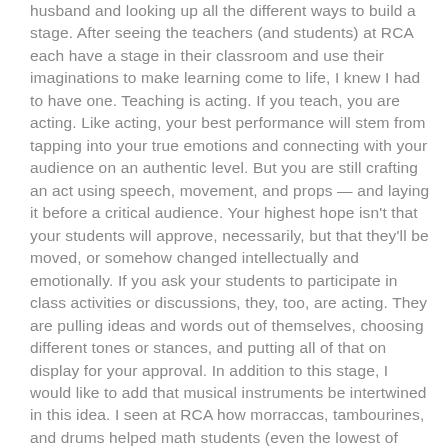husband and looking up all the different ways to build a stage. After seeing the teachers (and students) at RCA each have a stage in their classroom and use their imaginations to make learning come to life, I knew I had to have one. Teaching is acting. If you teach, you are acting. Like acting, your best performance will stem from tapping into your true emotions and connecting with your audience on an authentic level. But you are still crafting an act using speech, movement, and props — and laying it before a critical audience. Your highest hope isn't that your students will approve, necessarily, but that they'll be moved, or somehow changed intellectually and emotionally. If you ask your students to participate in class activities or discussions, they, too, are acting. They are pulling ideas and words out of themselves, choosing different tones or stances, and putting all of that on display for your approval. In addition to this stage, I would like to add that musical instruments be intertwined in this idea. I seen at RCA how morraccas, tambourines, and drums helped math students (even the lowest of performers) relate their beat to the content. It was so moving to watch this unfold and see the interaction with each other and